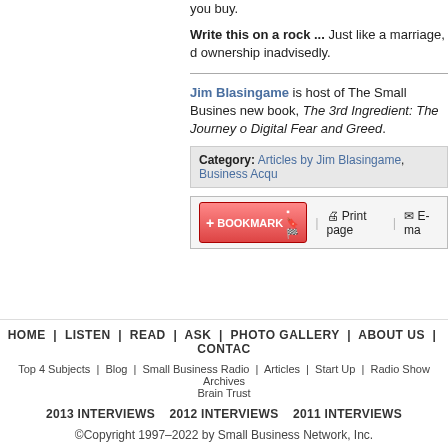you buy.
Write this on a rock ... Just like a marriage, d ownership inadvisedly.
Jim Blasingame is host of The Small Busines new book, The 3rd Ingredient: The Journey o Digital Fear and Greed.
Category: Articles by Jim Blasingame, Business Acqu
[Figure (screenshot): Bookmark and share toolbar with bookmark button, print page link, and email link]
HOME | LISTEN | READ | ASK | PHOTO GALLERY | ABOUT US | CONTACT
Top 4 Subjects | Blog | Small Business Radio | Articles | Start Up | Radio Show Archives | Brain Trust
2013 INTERVIEWS  2012 INTERVIEWS  2011 INTERVIEWS
©Copyright 1997–2022 by Small Business Network, Inc.